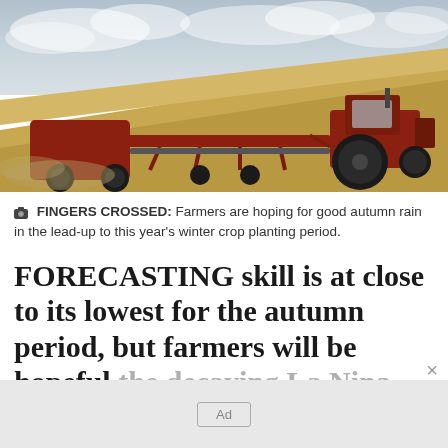[Figure (photo): A large red tractor pulling farm equipment across a dry grain field with a cloudy sky in the background. Dust is visible behind the machinery.]
FINGERS CROSSED: Farmers are hoping for good autumn rain in the lead-up to this year's winter crop planting period.
FORECASTING skill is at close to its lowest for the autumn period, but farmers will be hopeful the decaying La Nina provides some parting gifts over the next three months.